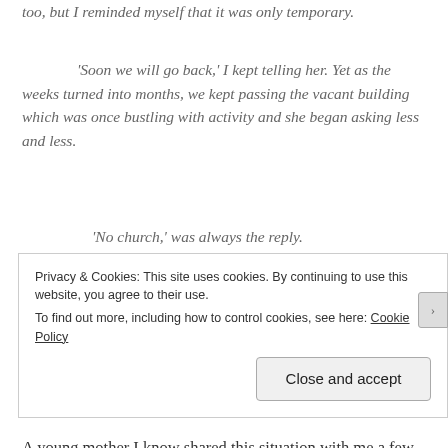too, but I reminded myself that it was only temporary.
'Soon we will go back,' I kept telling her. Yet as the weeks turned into months, we kept passing the vacant building which was once bustling with activity and she began asking less and less.
'No church,' was always the reply.
And then one day she stopped asking. As hard as the tears were to hear, the most heartbreaking thing of all was that she had forgotten. My daughter no longer remembers church."
A young mother I know shared this situation with me a few months ago and it has run through my mind many
Privacy & Cookies: This site uses cookies. By continuing to use this website, you agree to their use.
To find out more, including how to control cookies, see here: Cookie Policy
Close and accept